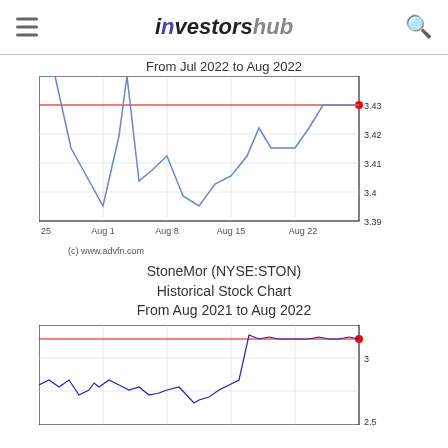investorshub
From Jul 2022 to Aug 2022
[Figure (line-chart): StoneMor historical stock chart from Jul 2022 to Aug 2022, showing price range approximately 3.39 to 3.43, with x-axis labels Jul 25, Aug 1, Aug 8, Aug 15, Aug 22, and a horizontal red reference line at 3.43]
(c) www.advfn.com
StoneMor (NYSE:STON)
Historical Stock Chart
From Aug 2021 to Aug 2022
[Figure (line-chart): StoneMor historical stock chart from Aug 2021 to Aug 2022, showing price range approximately 2.5 to 3+, with a red horizontal reference line near top and a sharp spike upward near Aug 2022]